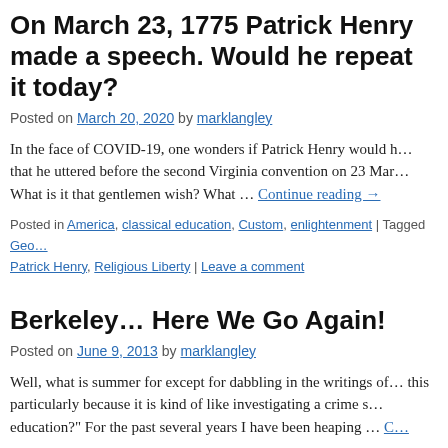On March 23, 1775 Patrick Henry made a speech. Would he repeat it today?
Posted on March 20, 2020 by marklangley
In the face of COVID-19, one wonders if Patrick Henry would have uttered the words that he uttered before the second Virginia convention on 23 Mar... What is it that gentlemen wish? What … Continue reading →
Posted in America, classical education, Custom, enlightenment | Tagged George Washington, Patrick Henry, Religious Liberty | Leave a comment
Berkeley… Here We Go Again!
Posted on June 9, 2013 by marklangley
Well, what is summer for except for dabbling in the writings of Berkeley? I enjoy this particularly because it is kind of like investigating a crime scene. "Classical education?" For the past several years I have been heaping … Continue reading →
Posted in enlightenment, Modernists | Tagged francis bacon, George Berkeley